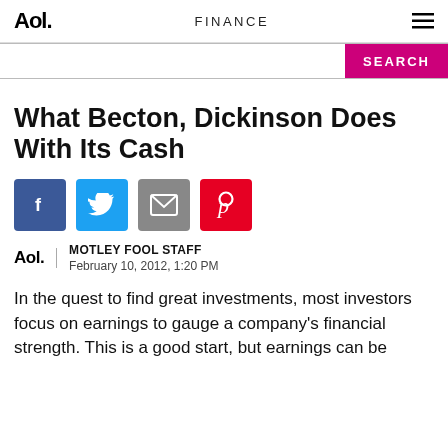Aol. FINANCE ☰
[Figure (screenshot): Search bar with pink SEARCH button]
What Becton, Dickinson Does With Its Cash
[Figure (infographic): Social share buttons: Facebook, Twitter, Email, Pinterest]
MOTLEY FOOL STAFF
February 10, 2012, 1:20 PM
In the quest to find great investments, most investors focus on earnings to gauge a company's financial strength. This is a good start, but earnings can be